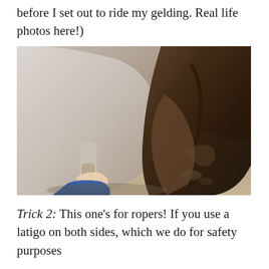before I set out to ride my gelding. Real life photos here!)
[Figure (photo): Close-up photo from above showing a person's hand holding or touching a horse's lower leg/hoof area near the ground. The horse appears light-colored (gray/white), with a Western saddle visible on the right side. Sandy ground is visible below.]
Trick 2: This one's for ropers! If you use a latigo on both sides, which we do for safety purposes